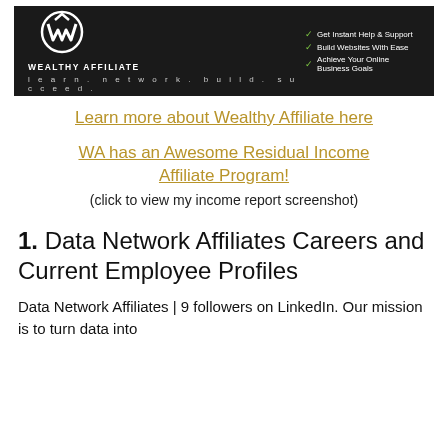[Figure (logo): Wealthy Affiliate banner with logo, tagline 'learn. network. build. succeed.' and bullet points: Get Instant Help & Support, Build Websites With Ease, Achieve Your Online Business Goals]
Learn more about Wealthy Affiliate here
WA has an Awesome Residual Income Affiliate Program!
(click to view my income report screenshot)
1. Data Network Affiliates Careers and Current Employee Profiles
Data Network Affiliates | 9 followers on LinkedIn. Our mission is to turn data into